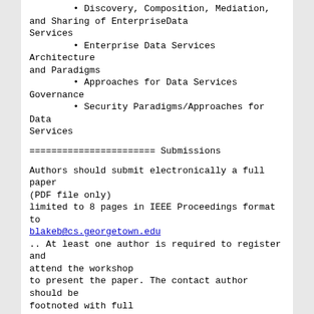• Discovery, Composition, Mediation, and Sharing of EnterpriseData Services
• Enterprise Data Services Architecture and Paradigms
• Approaches for Data Services Governance
• Security Paradigms/Approaches for Data Services
=======================
Submissions
Authors should submit electronically a full paper (PDF file only)
limited to 8 pages in IEEE Proceedings format to blakeb@cs.georgetown.edu
.. At least one author is required to register and attend the workshop
to present the paper. The contact author should be footnoted with full
contact information.
=======================
Workshop Timeline
April 7, 2008:  Workshop Paper Submissions Due
April 21, 2008: Decision & Notification
May 10, 2008:   Deadline for camera-ready versions